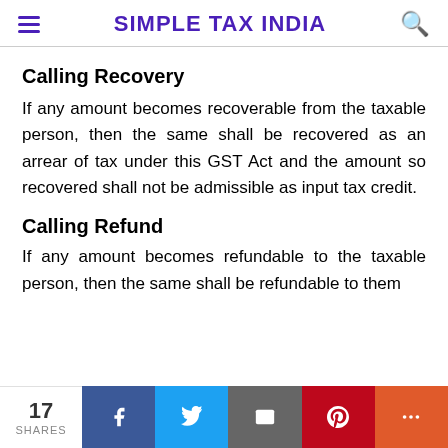SIMPLE TAX INDIA
Calling Recovery
If any amount becomes recoverable from the taxable person, then the same shall be recovered as an arrear of tax under this GST Act and the amount so recovered shall not be admissible as input tax credit.
Calling Refund
If any amount becomes refundable to the taxable person, then the same shall be refundable to them